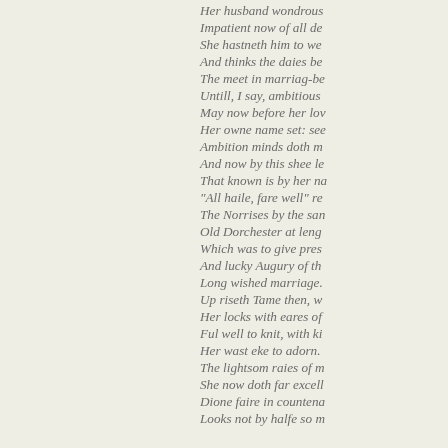Her husband wondrous
Impatient now of all de
She hastneth him to we
And thinks the daies be
The meet in marriag-be
Untill, I say, ambitious
May now before her lov
Her owne name set: see
Ambition minds doth m
And now by this shee le
That known is by her na
"All haile, fare well" re
The Norrises by the san
Old Dorchester at leng
Which was to give pres
And lucky Augury of th
Long wished marriage.
Up riseth Tame then, w
Her locks with eares of
Ful well to knit, with ki
Her wast eke to adorn.
The lightsom raies of m
She now doth far excell
Dione faire in countena
Looks not by halfe so m